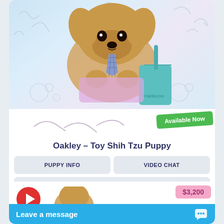[Figure (photo): A tiny Toy Shih Tzu puppy wearing a plaid tie, resting its paws on a Starbucks cup on a light blue/pink background with decorative squiggle drawings]
Available Now
Oakley – Toy Shih Tzu Puppy
PUPPY INFO
VIDEO CHAT
CONTACT US
[Figure (photo): Partial view of a second puppy listing card showing a video play button, $3,200 price badge, and a Leave a message chat bar]